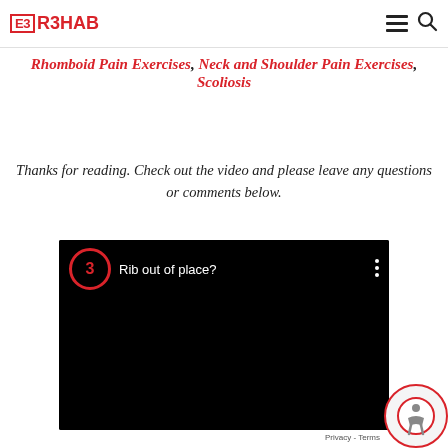E3 R3HAB
Rhomboid Pain Exercises, Neck and Shoulder Pain Exercises, Scoliosis
Thanks for reading. Check out the video and please leave any questions or comments below.
[Figure (screenshot): Embedded YouTube-style video player showing 'Rib out of place?' with E3 logo circle, three-dot menu, and black video area below]
[Figure (logo): reCAPTCHA badge with red circle and accessibility icon in bottom right corner]
Privacy - Terms